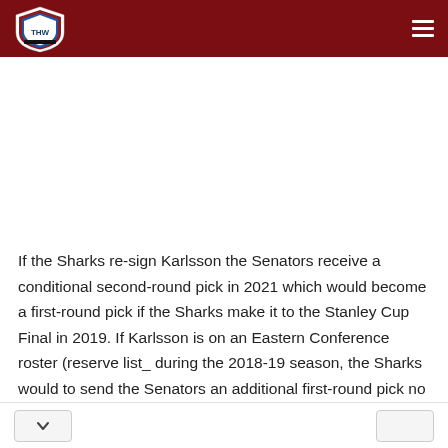THW Hockey Writers
If the Sharks re-sign Karlsson the Senators receive a conditional second-round pick in 2021 which would become a first-round pick if the Sharks make it to the Stanley Cup Final in 2019. If Karlsson is on an Eastern Conference roster (reserve list_ during the 2018-19 season, the Sharks would to send the Senators an additional first-round pick no